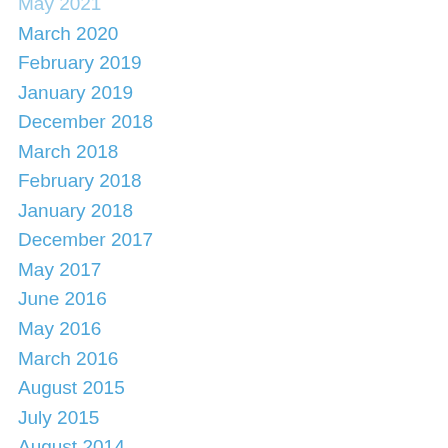May 2021
March 2020
February 2019
January 2019
December 2018
March 2018
February 2018
January 2018
December 2017
May 2017
June 2016
May 2016
March 2016
August 2015
July 2015
August 2014
July 2014
October 2013
September 2013
August 2013